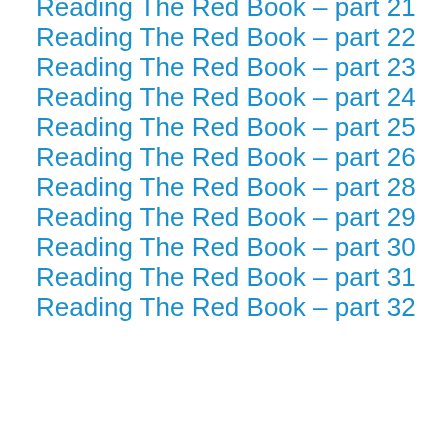Reading The Red Book – part 21
Reading The Red Book – part 22
Reading The Red Book – part 23
Reading The Red Book – part 24
Reading The Red Book – part 25
Reading The Red Book – part 26
Reading The Red Book – part 28
Reading The Red Book – part 29
Reading The Red Book – part 30
Reading The Red Book – part 31
Reading The Red Book – part 32